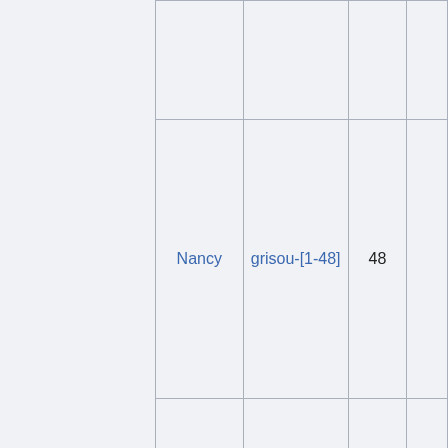|  |  |  |  |
| --- | --- | --- | --- |
|  |  |  |  |
| Nancy | grisou-[1-48] | 48 |  |
| Nancy | grisou-[50-51] | 2 |  |